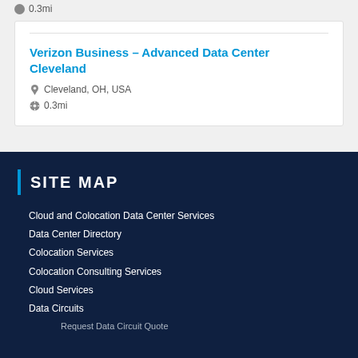0.3mi
Verizon Business – Advanced Data Center Cleveland
Cleveland, OH, USA
0.3mi
SITE MAP
Cloud and Colocation Data Center Services
Data Center Directory
Colocation Services
Colocation Consulting Services
Cloud Services
Data Circuits
Request Data Circuit Quote